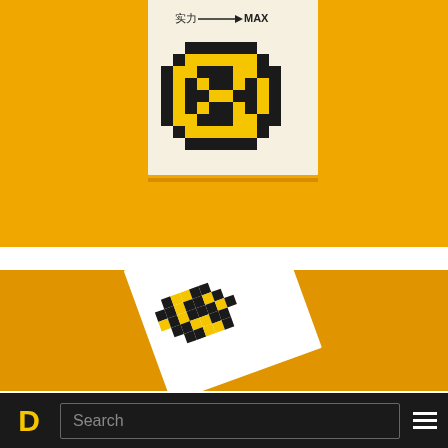[Figure (photo): Yellow background with a white card showing a pixelated coin/circle icon in black, and text reading '实力 → MAX']
[Figure (photo): Yellow background with a tilted white card/book showing a pixelated character with black and yellow colors]
D  Search  ≡